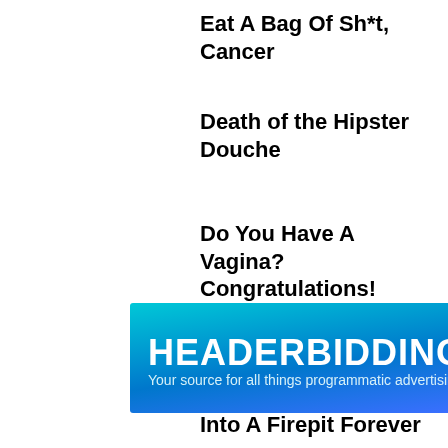Eat A Bag Of Sh*t, Cancer
Death of the Hipster Douche
Do You Have A Vagina? Congratulations! Lifetime Just Set You Back 20 Years.
If You Touch Yourself, God Will Throw You Into A Firepit Forever
Do They Only Stand By Ignorance?
[Figure (other): HEADERBIDDING.COM advertisement banner with teal and purple gradient background. Text: 'HEADERBIDDING.COM — Your source for all things programmatic advertising.']
Eye Patches: Officially Back In Style